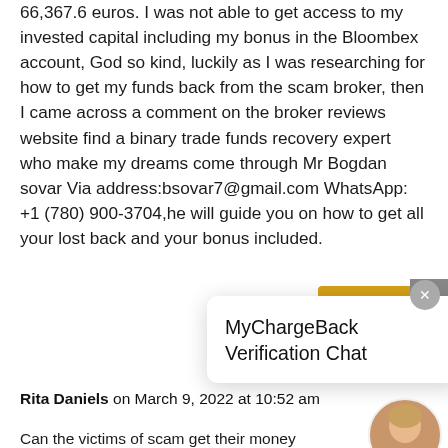66,367.6 euros. I was not able to get access to my invested capital including my bonus in the Bloombex account, God so kind, luckily as I was researching for how to get my funds back from the scam broker, then I came across a comment on the broker reviews website find a binary trade funds recovery expert who make my dreams come through Mr Bogdan sovar Via address:bsovar7@gmail.com WhatsApp: +1 (780) 900-3704,he will guide you on how to get all your lost back and your bonus included.
[Figure (screenshot): MyChargeBack Verification Chat popup with close button and navigation arrow]
Rita Daniels on March 9, 2022 at 10:52 am
Can the victims of scam get their money back? Yes, if you have fallen victim to scam